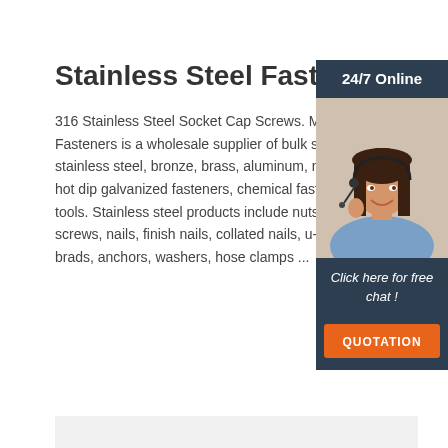Stainless Steel Fasteners
316 Stainless Steel Socket Cap Screws. Ma... Fasteners is a wholesale supplier of bulk sal... stainless steel, bronze, brass, aluminum, nyl... hot dip galvanized fasteners, chemical faste... tools. Stainless steel products include nuts, b... screws, nails, finish nails, collated nails, u-bo... brads, anchors, washers, hose clamps ...
[Figure (photo): Woman with headset smiling, customer service representative, with '24/7 Online' header and 'Click here for free chat!' and 'QUOTATION' button on a dark navy sidebar]
Get Price